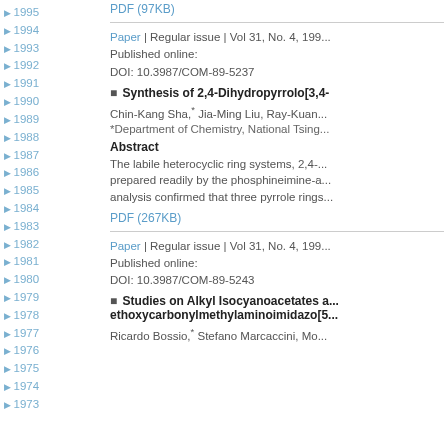1995
1994
1993
1992
1991
1990
1989
1988
1987
1986
1985
1984
1983
1982
1981
1980
1979
1978
1977
1976
1975
1974
1973
PDF (97KB)
Paper | Regular issue | Vol 31, No. 4, 199...
Published online:
DOI: 10.3987/COM-89-5237
■ Synthesis of 2,4-Dihydropyrrolo[3,4-...
Chin-Kang Sha,* Jia-Ming Liu, Ray-Kuan...
*Department of Chemistry, National Tsing...
Abstract
The labile heterocyclic ring systems, 2,4-... prepared readily by the phosphineimine-a... analysis confirmed that three pyrrole rings...
PDF (267KB)
Paper | Regular issue | Vol 31, No. 4, 199...
Published online:
DOI: 10.3987/COM-89-5243
■ Studies on Alkyl Isocyanoacetates a... ethoxycarbonylmethylaminoimidazo[5...
Ricardo Bossio,* Stefano Marcaccini, Mo...